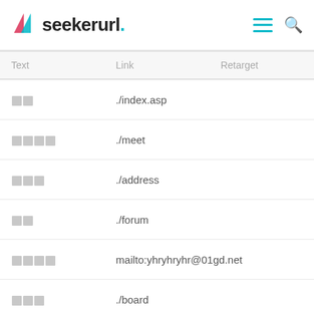seekerurl.
| Text | Link | Retarget |
| --- | --- | --- |
| □□ | ./index.asp |  |
| □□□□ | ./meet |  |
| □□□ | ./address |  |
| □□ | ./forum |  |
| □□□□ | mailto:yhryhryhr@01gd.net |  |
| □□□ | ./board |  |
| □□3118□ | ./board |  |
| □□ | ./board |  |